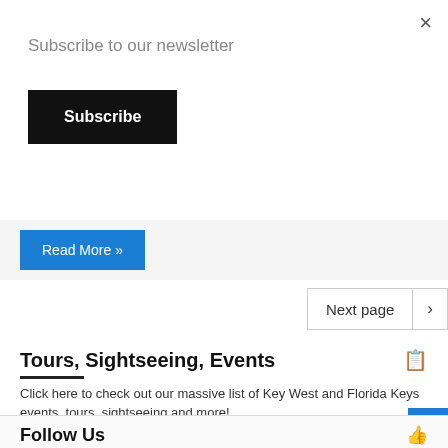Subscribe to our newsletter
Subscribe
Read More »
Next page
Tours, Sightseeing, Events
Click here to check out our massive list of Key West and Florida Keys events, tours, sightseeing and more!
Follow Us